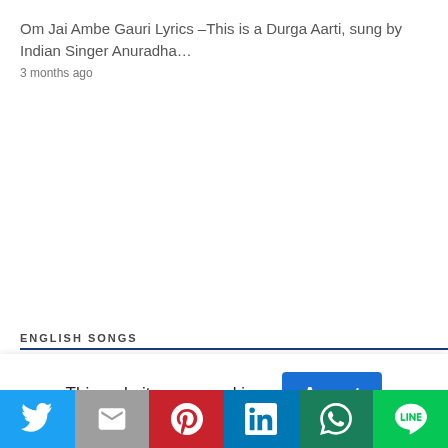Om Jai Ambe Gauri Lyrics –This is a Durga Aarti, sung by Indian Singer Anuradha…
3 months ago
ENGLISH SONGS
This website uses cookies.
Accept
Twitter | Gmail | Pinterest | LinkedIn | WhatsApp | Line social share buttons